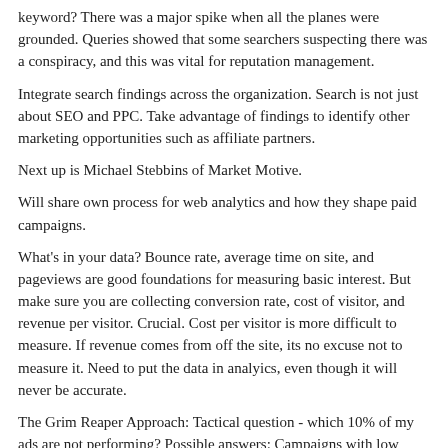keyword? There was a major spike when all the planes were grounded. Queries showed that some searchers suspecting there was a conspiracy, and this was vital for reputation management.
Integrate search findings across the organization. Search is not just about SEO and PPC. Take advantage of findings to identify other marketing opportunities such as affiliate partners.
Next up is Michael Stebbins of Market Motive.
Will share own process for web analytics and how they shape paid campaigns.
What's in your data? Bounce rate, average time on site, and pageviews are good foundations for measuring basic interest. But make sure you are collecting conversion rate, cost of visitor, and revenue per visitor. Crucial. Cost per visitor is more difficult to measure. If revenue comes from off the site, its no excuse not to measure it. Need to put the data in analyics, even though it will never be accurate.
The Grim Reaper Approach: Tactical question - which 10% of my ads are not performing? Possible answers: Campaigns with low cost to revenue ROI, low conversions, and ads that are...